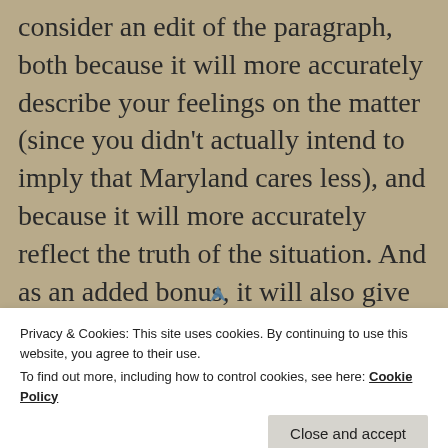consider an edit of the paragraph, both because it will more accurately describe your feelings on the matter (since you didn't actually intend to imply that Maryland cares less), and because it will more accurately reflect the truth of the situation. And as an added bonus, it will also give your childish antagonists a win, so that hopefully they will declare victory over the horrible tyrant blog lady who dared to off-handedly make a minor slight, go away, and leave you alone.
Privacy & Cookies: This site uses cookies. By continuing to use this website, you agree to their use. To find out more, including how to control cookies, see here: Cookie Policy
Close and accept
GALAXY JANE